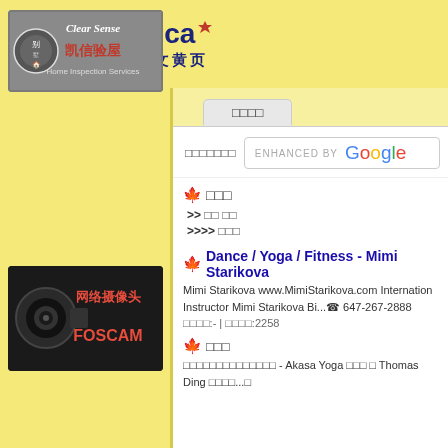[Figure (logo): cn411.ca logo with house/hand icon, text cn411.ca and Chinese characters 加拿大中文黄页]
[Figure (photo): Clear Sense 凯信验屋 Home Inspection Services advertisement banner]
[Figure (photo): 网络摄像头 FOSCAM advertisement banner with camera image]
□□□□
□□□□□□□
ENHANCED BY Google
🍁□□□
>> □□ □□
>>>> □□□
Dance / Yoga / Fitness - Mimi Starikova
Mimi Starikova www.MimiStarikova.com International Instructor Mimi Starikova Bi...☎ 647-267-2888
□□□□:- | □□□□:2258
🍁□□□
□□□□□□□□□□□□□□ - Akasa Yoga □□□ □ Thomas Ding □□□□...